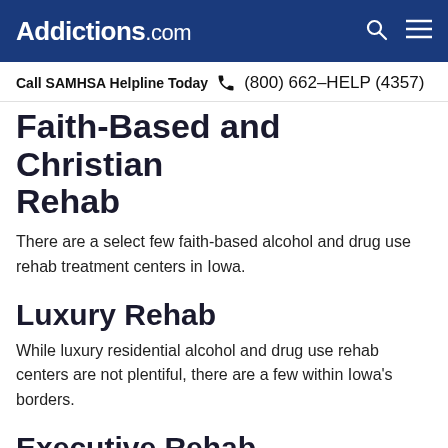Addictions.com
Call SAMHSA Helpline Today  (800) 662-HELP (4357)
Faith-Based and Christian Rehab
There are a select few faith-based alcohol and drug use rehab treatment centers in Iowa.
Luxury Rehab
While luxury residential alcohol and drug use rehab centers are not plentiful, there are a few within Iowa's borders.
Executive Rehab